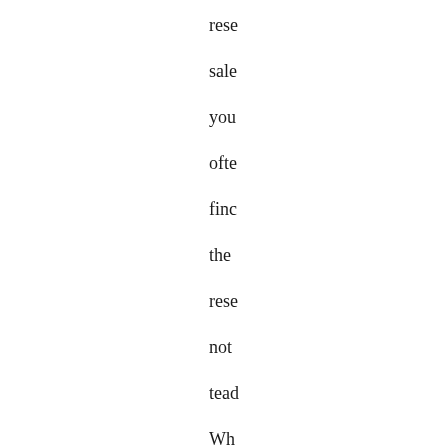rese
sale
you
ofte
finc
the
rese
not
tead
Wh
Bec
sch
is
pan
of
wha
a
pro
doe
but
so
is
tead
a